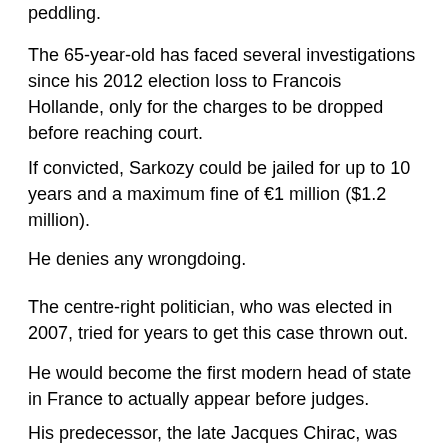peddling.
The 65-year-old has faced several investigations since his 2012 election loss to Francois Hollande, only for the charges to be dropped before reaching court.
If convicted, Sarkozy could be jailed for up to 10 years and a maximum fine of €1 million ($1.2 million).
He denies any wrongdoing.
The centre-right politician, who was elected in 2007, tried for years to get this case thrown out.
He would become the first modern head of state in France to actually appear before judges.
His predecessor, the late Jacques Chirac, was convicted in 2011 for embezzling public funds during his time as a mayor of Paris. But he never took the stand due to health problems